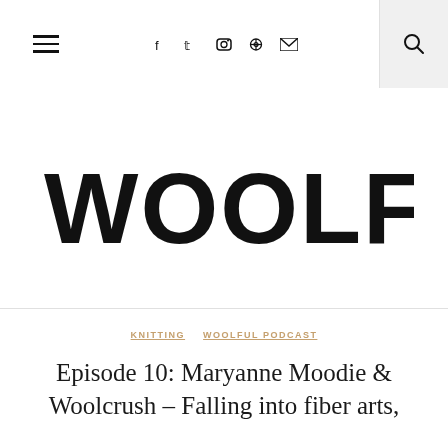≡  f  t  📷   pinterest  rss  🔍
[Figure (logo): Woolful blog logo in large bold brush-lettered black text reading WOOLFUL]
KNITTING    WOOLFUL PODCAST
Episode 10: Maryanne Moodie & Woolcrush – Falling into fiber arts,